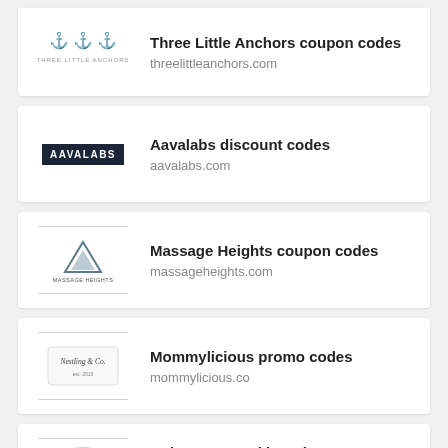[Figure (logo): Three Little Anchors logo — small anchors icon with text]
Three Little Anchors coupon codes
threelittleanchors.com
[Figure (logo): Aavalabs logo — dark background with white bold text AAVALABS]
Aavalabs discount codes
aavalabs.com
[Figure (logo): Massage Heights logo — mountain/triangle icon with brand name]
Massage Heights coupon codes
massageheights.com
[Figure (logo): Nestling & Co. logo — circular badge style]
Mommylicious promo codes
mommylicious.co
[Figure (logo): Ault's Rug Hooking Store logo — decorative text badge]
Ault’s Rug Hooking Shop discount codes
aults.com